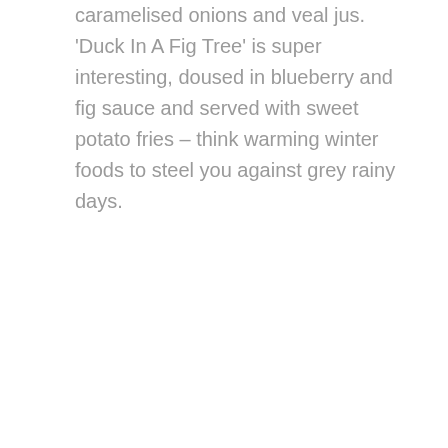caramelised onions and veal jus. 'Duck In A Fig Tree' is super interesting, doused in blueberry and fig sauce and served with sweet potato fries – think warming winter foods to steel you against grey rainy days.